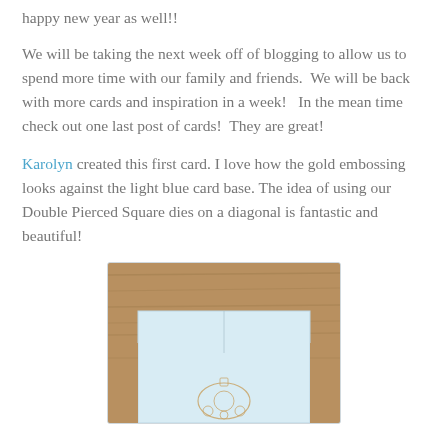happy new year as well!!
We will be taking the next week off of blogging to allow us to spend more time with our family and friends.  We will be back with more cards and inspiration in a week!   In the mean time check out one last post of cards!  They are great!
Karolyn created this first card. I love how the gold embossing looks against the light blue card base. The idea of using our Double Pierced Square dies on a diagonal is fantastic and beautiful!
[Figure (photo): A handmade card with a light blue card base displayed against a wooden background. The card features a decorative ornament/medallion with gold embossing details placed on a diagonal orientation.]